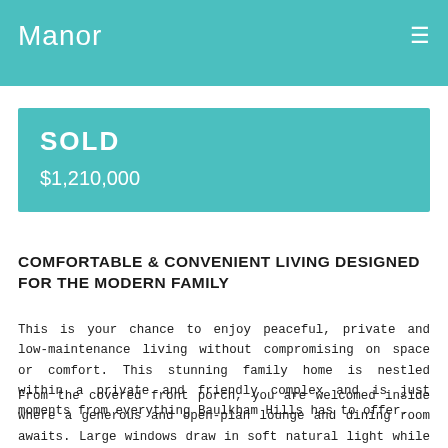Manor
SOLD
$1,210,000
COMFORTABLE & CONVENIENT LIVING DESIGNED FOR THE MODERN FAMILY
This is your chance to enjoy peaceful, private and low-maintenance living without compromising on space or comfort. This stunning family home is nestled within a private and friendly complex and is just moments from everything Baulkham Hills has to offer.
From the covered front porch, you are welcomed inside where a generous and open-plan lounge and dining room awaits. Large windows draw in soft natural light while the lucky new owners are also treated to easy-care tile flooring, on-trend neutral colour tones throughout and split system air-conditioning for absolute comfort no